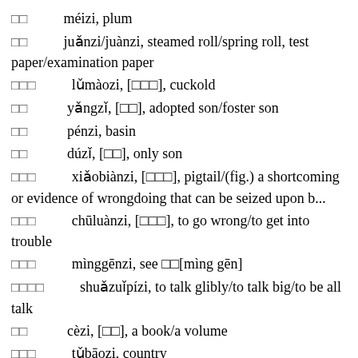□□    méizi, plum
□□    juǎnzi/juànzi, steamed roll/spring roll, test paper/examination paper
□□□    lǔmàozi, [□□□], cuckold
□□    yǎngzǐ, [□□], adopted son/foster son
□□    pénzi, basin
□□    dúzǐ, [□□], only son
□□□    xiǎobiànzi, [□□□], pigtail/(fig.) a shortcoming or evidence of wrongdoing that can be seized upon b...
□□□    chūluànzi, [□□□], to go wrong/to get into trouble
□□□    mìnggēnzi, see □□[mìng gēn]
□□□□    shuǎzuǐpízi, to talk glibly/to talk big/to be all talk
□□    cèzi, [□□], a book/a volume
□□□    tǔbāozi, country